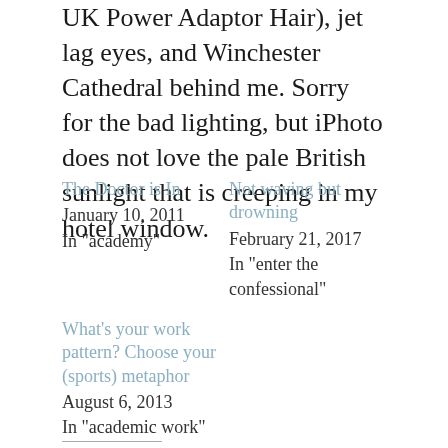UK Power Adaptor Hair), jet lag eyes, and Winchester Cathedral behind me. Sorry for the bad lighting, but iPhoto does not love the pale British sunlight that is creeping in my hotel window.
The Doctor is In
January 10, 2011
In "academy"
Not waving but drowning
February 21, 2017
In "enter the confessional"
What's your work pattern? Choose your (sports) metaphor
August 6, 2013
In "academic work"